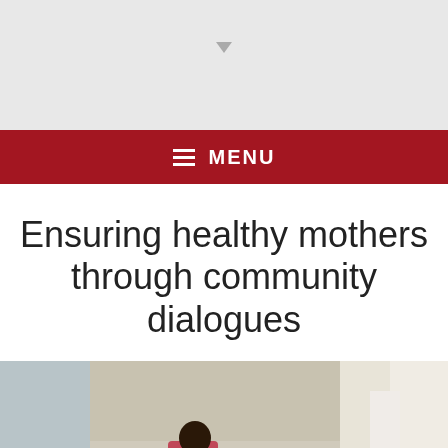MENU
Ensuring healthy mothers through community dialogues
[Figure (photo): Group of people sitting in an outdoor/semi-outdoor setting, appearing to be engaged in a community dialogue session. Several individuals are seated on benches and on the floor.]